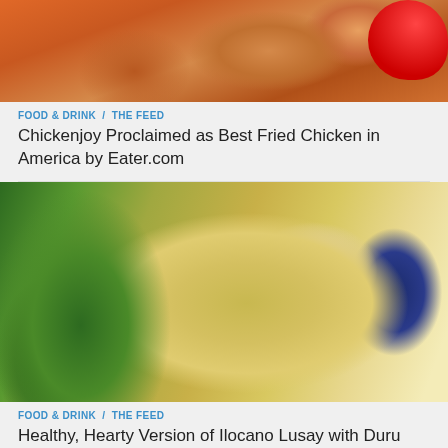[Figure (photo): Cropped photo of fried chicken pieces (Chickenjoy) on a red plate, top portion visible]
FOOD & DRINK / THE FEED
Chickenjoy Proclaimed as Best Fried Chicken in America by Eater.com
[Figure (photo): Close-up photo of Ilocano Lusay rice dish with Duru Bulgur, green vegetables, tomatoes, and a striped plate/fork visible on right]
FOOD & DRINK / THE FEED
Healthy, Hearty Version of Ilocano Lusay with Duru Bulgur from The Goodwill Market